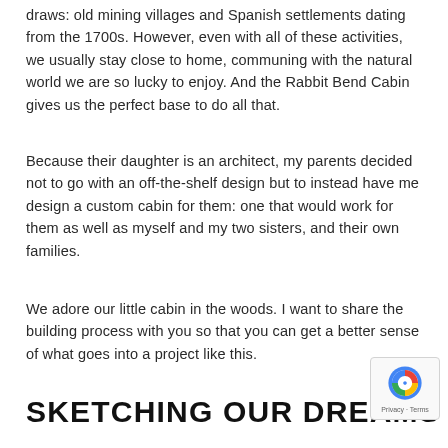draws: old mining villages and Spanish settlements dating from the 1700s. However, even with all of these activities, we usually stay close to home, communing with the natural world we are so lucky to enjoy. And the Rabbit Bend Cabin gives us the perfect base to do all that.
Because their daughter is an architect, my parents decided not to go with an off-the-shelf design but to instead have me design a custom cabin for them: one that would work for them as well as myself and my two sisters, and their own families.
We adore our little cabin in the woods. I want to share the building process with you so that you can get a better sense of what goes into a project like this.
SKETCHING OUR DREAMS